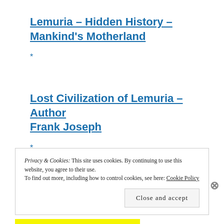Lemuria – Hidden History – Mankind's Motherland
*
Lost Civilization of Lemuria – Author Frank Joseph
*
Privacy & Cookies: This site uses cookies. By continuing to use this website, you agree to their use. To find out more, including how to control cookies, see here: Cookie Policy
Close and accept